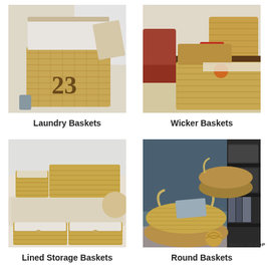[Figure (photo): A large woven seagrass laundry basket with number 23 on it, white linen liner visible at top, folded beige towels nearby, on a wood floor]
Laundry Baskets
[Figure (photo): Multiple wicker storage baskets of different sizes stacked and arranged, red radio on top shelf, orange yarn ball inside smaller basket, on a light wood floor]
Wicker Baskets
[Figure (photo): Several woven storage baskets with white fabric liners, arranged on and under a cream upholstered bench, containing linens]
Lined Storage Baskets
[Figure (photo): Round woven seagrass baskets of two sizes with rope handles, near a dark shelving unit, one large basket containing books/magazines, small woven ball on floor]
Round Baskets